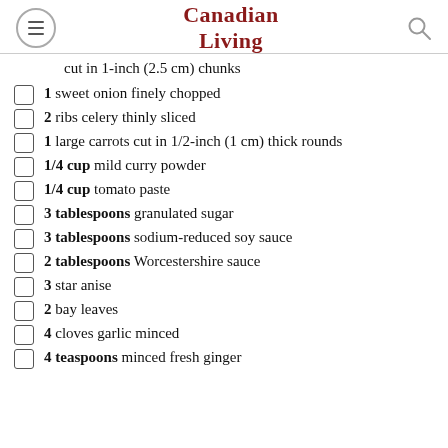Canadian Living
cut in 1-inch (2.5 cm) chunks
1  sweet onion finely chopped
2  ribs celery thinly sliced
1  large carrots cut in 1/2-inch (1 cm) thick rounds
1/4 cup  mild curry powder
1/4 cup  tomato paste
3 tablespoons  granulated sugar
3 tablespoons  sodium-reduced soy sauce
2 tablespoons  Worcestershire sauce
3  star anise
2  bay leaves
4  cloves garlic minced
4 teaspoons  minced fresh ginger